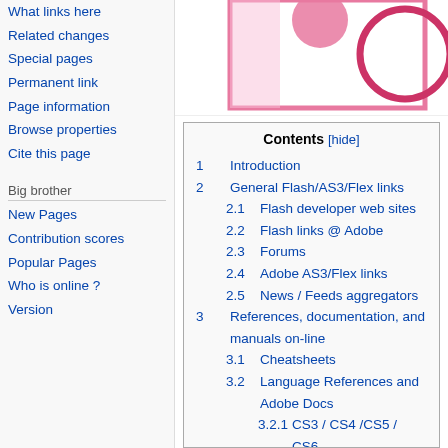[Figure (illustration): Partial logo image visible at top right — pink/red shapes with circles on white background with pink border]
What links here
Related changes
Special pages
Permanent link
Page information
Browse properties
Cite this page
Big brother
New Pages
Contribution scores
Popular Pages
Who is online ?
Version
Contents [hide]
1  Introduction
2  General Flash/AS3/Flex links
2.1  Flash developer web sites
2.2  Flash links @ Adobe
2.3  Forums
2.4  Adobe AS3/Flex links
2.5  News / Feeds aggregators
3  References, documentation, and manuals on-line
3.1  Cheatsheets
3.2  Language References and Adobe Docs
3.2.1  CS3 / CS4 /CS5 / CS6
3.2.2  AS3
3.2.3  Flex
4  Flash tutorials and examples